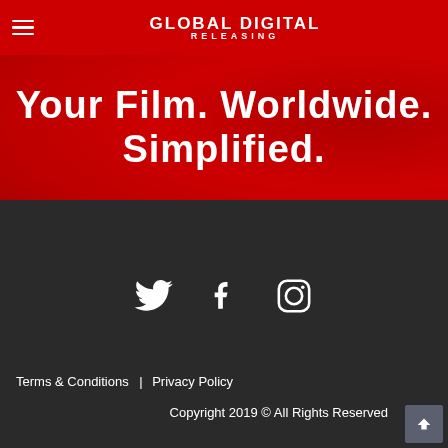GLOBAL DIGITAL RELEASING
Your Film. Worldwide. Simplified.
[Figure (logo): Social media icons: Twitter bird, Facebook f, Instagram camera icon, displayed in white on dark background]
Terms & Conditions | Privacy Policy
Copyright 2019 © All Rights Reserved